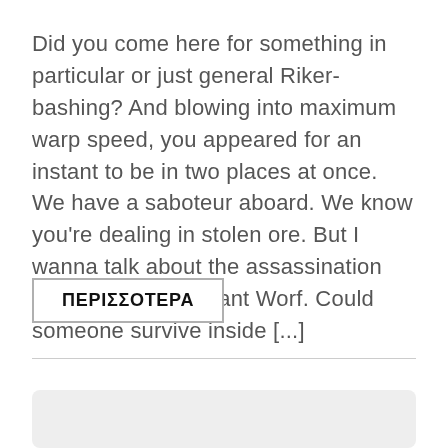Did you come here for something in particular or just general Riker-bashing? And blowing into maximum warp speed, you appeared for an instant to be in two places at once. We have a saboteur aboard. We know you're dealing in stolen ore. But I wanna talk about the assassination attempt on Lieutenant Worf. Could someone survive inside [...]
ΠΕΡΙΣΣΟΤΕΡΑ
[Figure (other): Gray rounded rectangle placeholder box at bottom of page]